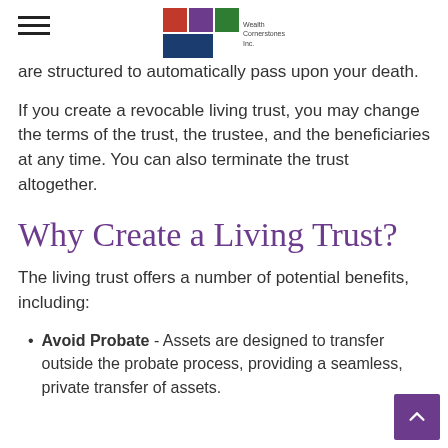Wealth Cornerstones Inc.
are structured to automatically pass upon your death.
If you create a revocable living trust, you may change the terms of the trust, the trustee, and the beneficiaries at any time. You can also terminate the trust altogether.
Why Create a Living Trust?
The living trust offers a number of potential benefits, including:
Avoid Probate - Assets are designed to transfer outside the probate process, providing a seamless, private transfer of assets.